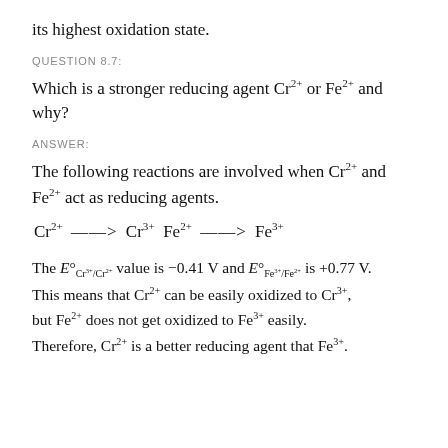its highest oxidation state.
QUESTION 8.7:
Which is a stronger reducing agent Cr2+ or Fe2+ and why?
ANSWER:
The following reactions are involved when Cr2+ and Fe2+ act as reducing agents.
The E°Cr3+/Cr2+ value is −0.41 V and E°Fe3+/Fe2+ is +0.77 V. This means that Cr2+ can be easily oxidized to Cr3+, but Fe2+ does not get oxidized to Fe3+ easily.
Therefore, Cr2+ is a better reducing agent that Fe3+.